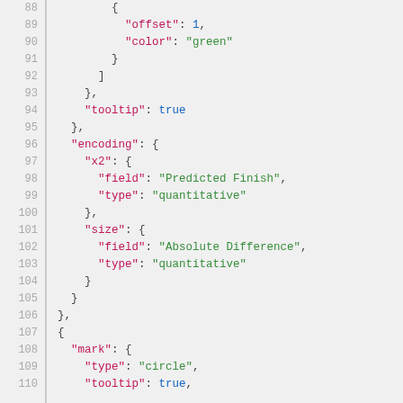Code snippet showing JSON configuration lines 88-110 with syntax highlighting